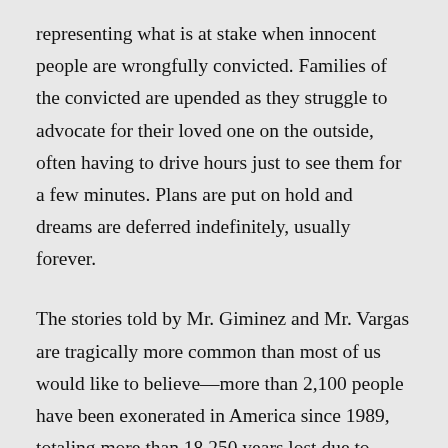representing what is at stake when innocent people are wrongfully convicted. Families of the convicted are upended as they struggle to advocate for their loved one on the outside, often having to drive hours just to see them for a few minutes. Plans are put on hold and dreams are deferred indefinitely, usually forever.
The stories told by Mr. Giminez and Mr. Vargas are tragically more common than most of us would like to believe—more than 2,100 people have been exonerated in America since 1989, totaling more than 18,250 years lost due to wrongful convictions. While it is currently unknown just how many innocent people might be in our country's prisons, credible estimates range from